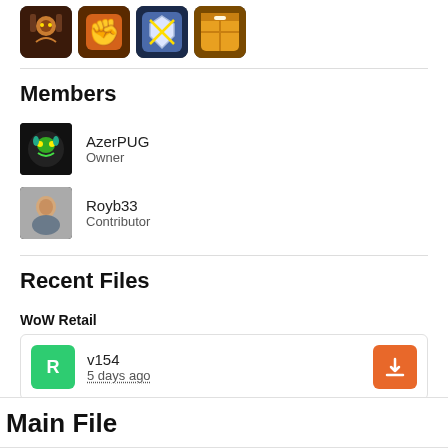[Figure (illustration): Four game icon images in a row: a character/hero icon, a fist/strength icon, a shield/swords icon, and a crate/box icon.]
Members
AzerPUG
Owner
Royb33
Contributor
Recent Files
WoW Retail
v154
5 days ago
Main File